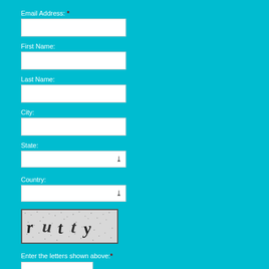Email Address: *
[Figure (other): Text input field for email address]
First Name:
[Figure (other): Text input field for first name]
Last Name:
[Figure (other): Text input field for last name]
City:
[Figure (other): Text input field for city]
State:
[Figure (other): Dropdown select field for state]
Country:
[Figure (other): Dropdown select field for country]
[Figure (other): CAPTCHA image showing distorted text 'rutty']
Enter the letters shown above:*
[Figure (other): Text input field for CAPTCHA answer]